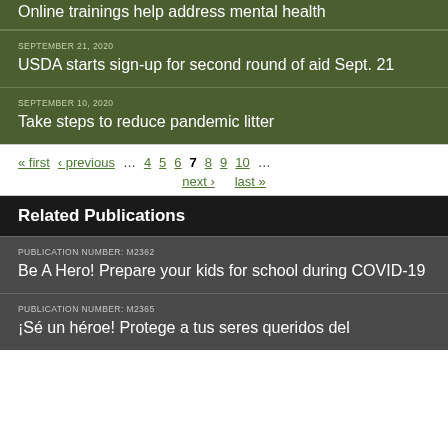Online trainings help address mental health
SEPTEMBER 21, 2020
USDA starts sign-up for second round of aid Sept. 21
SEPTEMBER 10, 2020
Take steps to reduce pandemic litter
« first  ‹ previous  ...  4  5  6  7  8  9  10  ...  next ›  last »
Related Publications
PUBLICATION NUMBER: M2362
Be A Hero! Prepare your kids for school during COVID-19
PUBLICATION NUMBER: M2365
¡Sé un héroe! Protege a tus seres queridos del